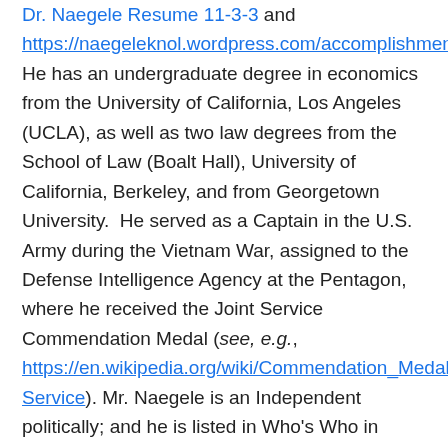Dr. Naegele Resume 11-3-3 and https://naegeleknol.wordpress.com/accomplishments/  He has an undergraduate degree in economics from the University of California, Los Angeles (UCLA), as well as two law degrees from the School of Law (Boalt Hall), University of California, Berkeley, and from Georgetown University.  He served as a Captain in the U.S. Army during the Vietnam War, assigned to the Defense Intelligence Agency at the Pentagon, where he received the Joint Service Commendation Medal (see, e.g., https://en.wikipedia.org/wiki/Commendation_Medal#Joint_Service). Mr. Naegele is an Independent politically; and he is listed in Who's Who in America, Who's Who in American Law, and Who's Who in Finance and Business. He has written extensively over the years (see, e.g., https://naegeleblog.wordpress.com/articles/ and https://naegeleknol.wordpress.com/articles/), and studied